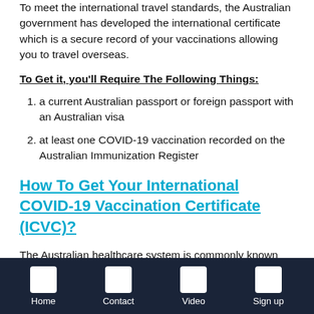To meet the international travel standards, the Australian government has developed the international certificate which is a secure record of your vaccinations allowing you to travel overseas.
To Get it, you'll Require The Following Things:
a current Australian passport or foreign passport with an Australian visa
at least one COVID-19 vaccination recorded on the Australian Immunization Register
How To Get Your International COVID-19 Vaccination Certificate (ICVC)?
The Australian healthcare system is commonly known
Home  Contact  Video  Sign up